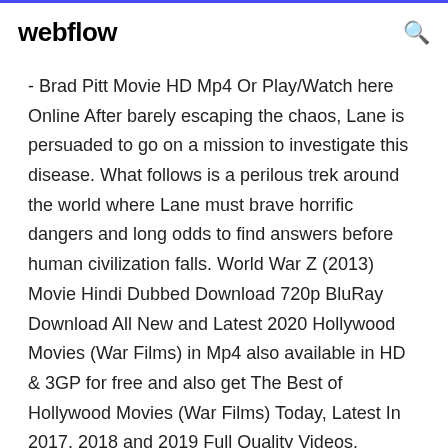webflow
- Brad Pitt Movie HD Mp4 Or Play/Watch here Online After barely escaping the chaos, Lane is persuaded to go on a mission to investigate this disease. What follows is a perilous trek around the world where Lane must brave horrific dangers and long odds to find answers before human civilization falls. World War Z (2013) Movie Hindi Dubbed Download 720p BluRay Download All New and Latest 2020 Hollywood Movies (War Films) in Mp4 also available in HD & 3GP for free and also get The Best of Hollywood Movies (War Films) Today, Latest In 2017, 2018 and 2019 Full Quality Videos. afilmywap in, aFilmywap.in, AFilmywap.com, Download 2018 New Latest